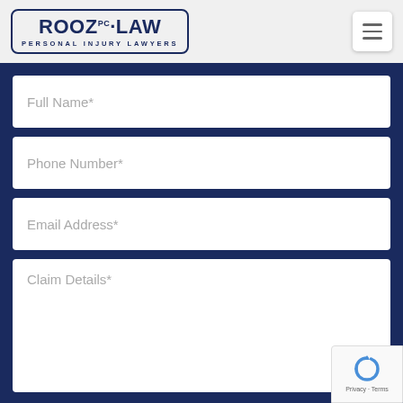[Figure (logo): ROOZ PC LAW Personal Injury Lawyers logo in dark navy blue with rounded rectangle border]
[Figure (other): Hamburger menu icon (three horizontal lines) in a white rounded square button]
Full Name*
Phone Number*
Email Address*
Claim Details*
[Figure (other): Google reCAPTCHA badge with circular arrow logo and Privacy - Terms text]